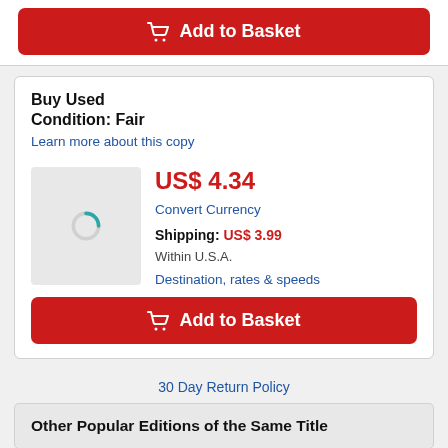[Figure (other): Red 'Add to Basket' button with shopping cart icon at top of page]
Buy Used
Condition: Fair
Learn more about this copy
[Figure (other): Product thumbnail placeholder with loading spinner]
US$ 4.34
Convert Currency
Shipping: US$ 3.99
Within U.S.A.
Destination, rates & speeds
[Figure (other): Red 'Add to Basket' button with shopping cart icon]
30 Day Return Policy
Other Popular Editions of the Same Title